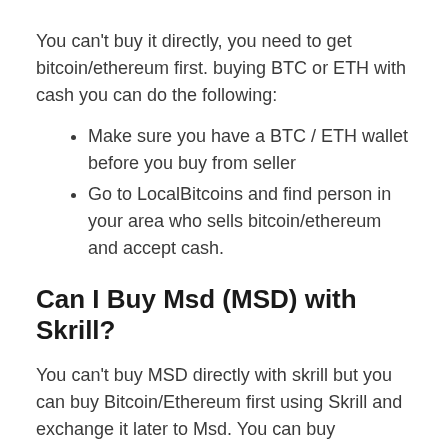You can't buy it directly, you need to get bitcoin/ethereum first. buying BTC or ETH with cash you can do the following:
Make sure you have a BTC / ETH wallet before you buy from seller
Go to LocalBitcoins and find person in your area who sells bitcoin/ethereum and accept cash.
Can I Buy Msd (MSD) with Skrill?
You can't buy MSD directly with skrill but you can buy Bitcoin/Ethereum first using Skrill and exchange it later to Msd. You can buy BTC/ETH with skrill by using these exchanges::
LocalBitcoins
Paxful